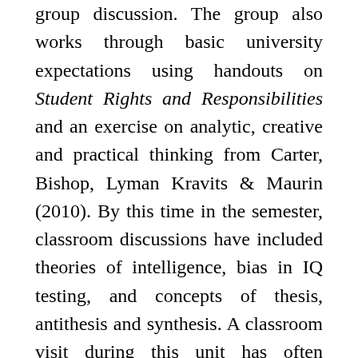group discussion. The group also works through basic university expectations using handouts on Student Rights and Responsibilities and an exercise on analytic, creative and practical thinking from Carter, Bishop, Lyman Kravits & Maurin (2010). By this time in the semester, classroom discussions have included theories of intelligence, bias in IQ testing, and concepts of thesis, antithesis and synthesis. A classroom visit during this unit has often included an Elder or Counsellor to discuss incorporating the medicine wheel from Indigenous cultures into tertiary learning. To emphasise that learning is a process, an early assignment requires students to